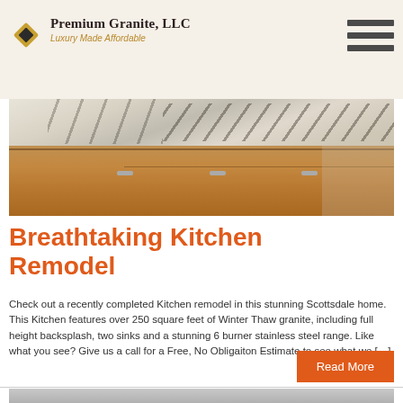[Figure (logo): Premium Granite LLC logo with diamond shape and tagline 'Luxury Made Affordable']
[Figure (photo): Kitchen remodel photo showing granite countertop with dark veins and wood cabinets below]
Breathtaking Kitchen Remodel
Check out a recently completed Kitchen remodel in this stunning Scottsdale home. This Kitchen features over 250 square feet of Winter Thaw granite, including full height backsplash, two sinks and a stunning 6 burner stainless steel range. Like what you see? Give us a call for a Free, No Obligaiton Estimate to see what we […]
[Figure (photo): Bottom partial photo of another kitchen or room interior]